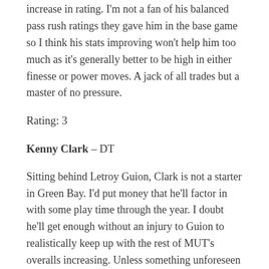increase in rating. I'm not a fan of his balanced pass rush ratings they gave him in the base game so I think his stats improving won't help him too much as it's generally better to be high in either finesse or power moves. A jack of all trades but a master of no pressure.
Rating: 3
Kenny Clark – DT
Sitting behind Letroy Guion, Clark is not a starter in Green Bay. I'd put money that he'll factor in with some play time through the year. I doubt he'll get enough without an injury to Guion to realistically keep up with the rest of MUT's overalls increasing. Unless something unforeseen happens, I don't see a hugely productive rookie year from him.